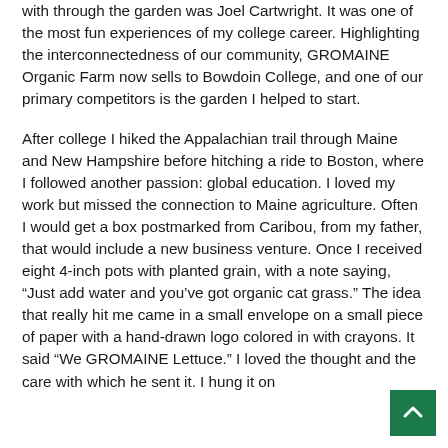with through the garden was Joel Cartwright. It was one of the most fun experiences of my college career. Highlighting the interconnectedness of our community, GROMAINE Organic Farm now sells to Bowdoin College, and one of our primary competitors is the garden I helped to start.
After college I hiked the Appalachian trail through Maine and New Hampshire before hitching a ride to Boston, where I followed another passion: global education. I loved my work but missed the connection to Maine agriculture. Often I would get a box postmarked from Caribou, from my father, that would include a new business venture. Once I received eight 4-inch pots with planted grain, with a note saying, “Just add water and you’ve got organic cat grass.” The idea that really hit me came in a small envelope on a small piece of paper with a hand-drawn logo colored in with crayons. It said “We GROMAINE Lettuce.” I loved the thought and the care with which he sent it. I hung it on